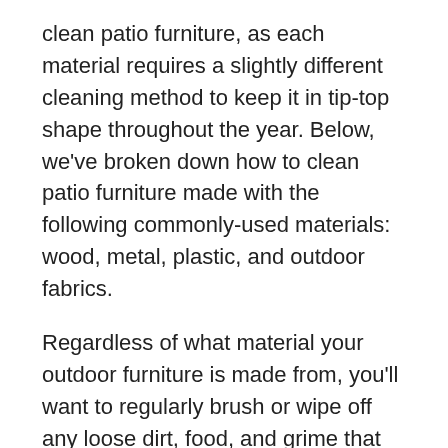clean patio furniture, as each material requires a slightly different cleaning method to keep it in tip-top shape throughout the year. Below, we've broken down how to clean patio furniture made with the following commonly-used materials: wood, metal, plastic, and outdoor fabrics.
Regardless of what material your outdoor furniture is made from, you'll want to regularly brush or wipe off any loose dirt, food, and grime that collects on your patio furniture during everyday use. Additionally, you may want to vacuum out the crevices and underside of your outdoor pieces to get rid of cobwebs, insects, and other stubborn debris.